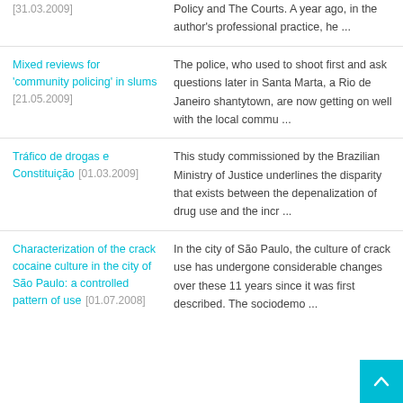Policy and The Courts. A year ago, in the author's professional practice, he ...
Mixed reviews for 'community policing' in slums [21.05.2009] | The police, who used to shoot first and ask questions later in Santa Marta, a Rio de Janeiro shantytown, are now getting on well with the local commu ...
Tráfico de drogas e Constituição [01.03.2009] | This study commissioned by the Brazilian Ministry of Justice underlines the disparity that exists between the depenalization of drug use and the incr ...
Characterization of the crack cocaine culture in the city of São Paulo: a controlled pattern of use [01.07.2008] | In the city of São Paulo, the culture of crack use has undergone considerable changes over these 11 years since it was first described. The sociodemo ...